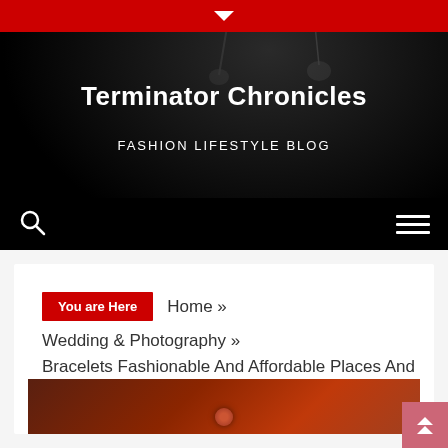▼
Terminator Chronicles
FASHION LIFESTYLE BLOG
[Figure (screenshot): Navigation bar with search icon (magnifying glass) on left and hamburger menu icon on right, black background]
You are Here  Home »  Wedding & Photography »  Bracelets Fashionable And Affordable Places And Various Bracelet Types.
[Figure (photo): Partial bottom crop of a bracelet/jewelry photo on dark red/brown background]